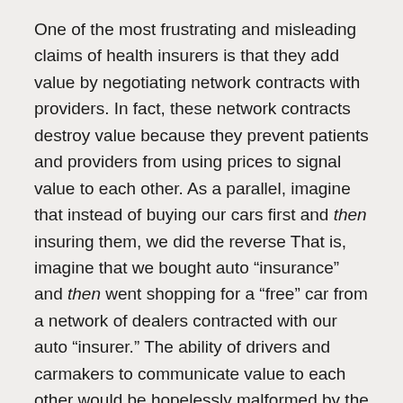One of the most frustrating and misleading claims of health insurers is that they add value by negotiating network contracts with providers. In fact, these network contracts destroy value because they prevent patients and providers from using prices to signal value to each other. As a parallel, imagine that instead of buying our cars first and then insuring them, we did the reverse That is, imagine that we bought auto “insurance” and then went shopping for a “free” car from a network of dealers contracted with our auto “insurer.” The ability of drivers and carmakers to communicate value to each other would be hopelessly malformed by the bureaucratic friction imposed by such a “system.”
This is what health insurers do, and they support their claims to add value by (unwittingly) falling back on a version of John Kenneth Galbraith’s notion of